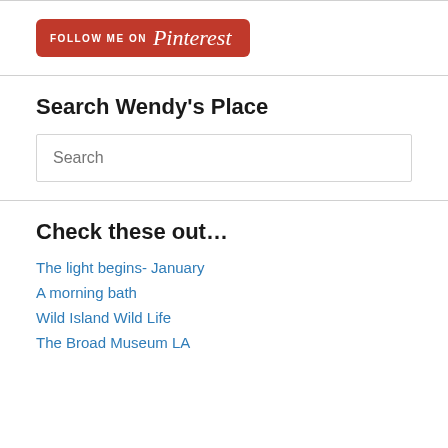[Figure (logo): Follow me on Pinterest button — red rounded rectangle with white text 'FOLLOW ME ON' and cursive 'Pinterest' logo]
Search Wendy's Place
Search (search input box placeholder)
Check these out…
The light begins- January
A morning bath
Wild Island Wild Life
The Broad Museum LA